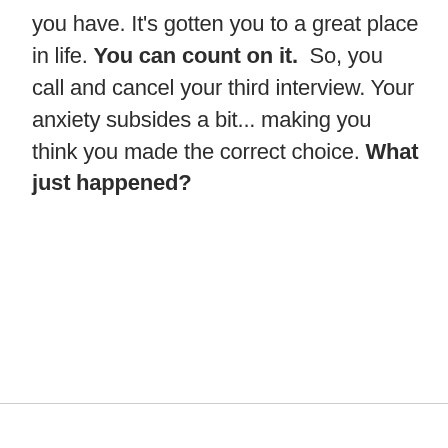you have. It's gotten you to a great place in life. You can count on it.  So, you call and cancel your third interview. Your anxiety subsides a bit... making you think you made the correct choice. What just happened?